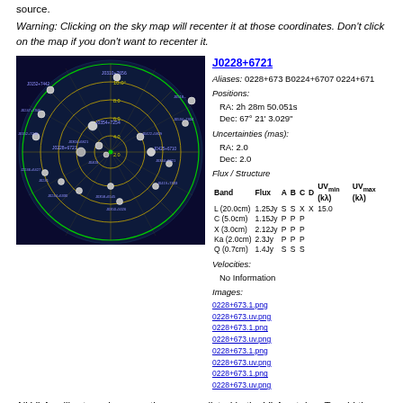source.
Warning: Clicking on the sky map will recenter it at those coordinates. Don't click on the map if you don't want to recenter it.
[Figure (map): Sky map showing circular radar-like display with concentric rings and grid, displaying multiple radio calibrator sources plotted as white dots with labels on a dark blue background. Green and yellow circles mark angular distance rings. Source J0228+6721 and others visible.]
J0228+6721
Aliases: 0228+673 B0224+6707 0224+671
Positions: RA: 2h 28m 50.051s Dec: 67° 21' 3.029"
Uncertainties (mas): RA: 2.0 Dec: 2.0
| Band | Flux | A | B | C | D | UVmin (kλ) | UVmax (kλ) |
| --- | --- | --- | --- | --- | --- | --- | --- |
| L (20.0cm) | 1.25Jy | S | S | X | X | 15.0 |  |
| C (5.0cm) | 1.15Jy | P | P | P |  |  |  |
| X (3.0cm) | 2.12Jy | P | P | P |  |  |  |
| Ka (2.0cm) | 2.3Jy | P | P | P |  |  |  |
| Q (0.7cm) | 1.4Jy | S | S | S |  |  |  |
Velocities: No Information
Images: 0228+673.1.png 0228+673.uv.png 0228+673.1.png 0228+673.uv.png 0228+673.1.png 0228+673.uv.png 0228+673.1.png 0228+673.uv.png
All VLA calibrators shown on the map are listed in the VLA catalog. To add the selected complex gain calibrator to the catalog for your project, search the VLA catalog for that calibrator and then copy and paste the complex gain calibrator information. To do this,
Select the VLA catalog. This catalog should be at the top of your list of